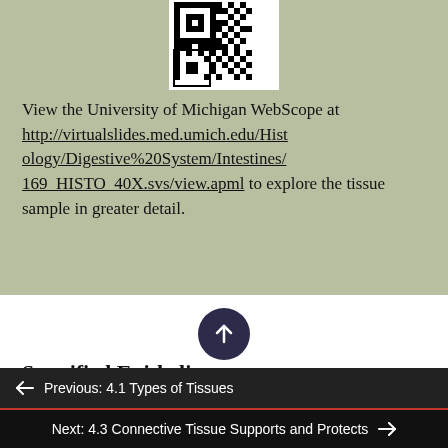[Figure (other): QR code linking to University of Michigan WebScope histology slide]
View the University of Michigan WebScope at http://virtualslides.med.umich.edu/Histology/Digestive%20System/Intestines/169_HISTO_40X.svs/view.apml to explore the tissue sample in greater detail.
Stratified Epithelium
A stratified epithelium consists of multiple
Previous: 4.1 Types of Tissues
Next: 4.3 Connective Tissue Supports and Protects